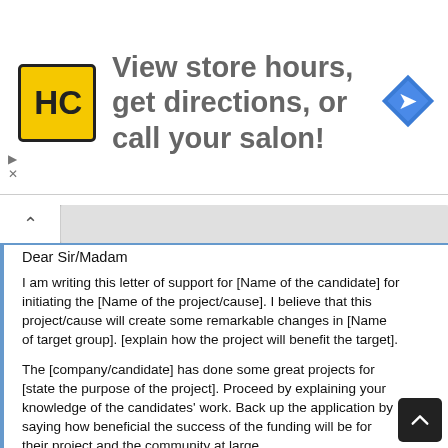[Figure (infographic): Advertisement banner: HC (Hair Club) logo on yellow square, text 'View store hours, get directions, or call your salon!', blue navigation diamond icon on right]
Dear Sir/Madam
I am writing this letter of support for [Name of the candidate] for initiating the [Name of the project/cause]. I believe that this project/cause will create some remarkable changes in [Name of target group]. [explain how the project will benefit the target].
The [company/candidate] has done some great projects for [state the purpose of the project]. Proceed by explaining your knowledge of the candidates' work. Back up the application by saying how beneficial the success of the funding will be for their project and the community at large.
In conclusion, I deeply support the efforts of [company/candidate] to seek funding to support [provide a brief description of the program]. Your support for this project will highly be appreciated